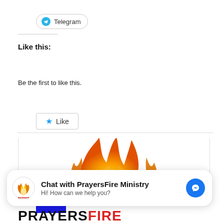[Figure (other): Telegram share button with Telegram logo]
Like this:
[Figure (other): Like button with star icon]
Be the first to like this.
[Figure (other): Blue square with number 10]
[Figure (illustration): Flame/fire illustration with orange and yellow flames on white background]
[Figure (other): Chat widget: PrayersFire Ministry logo, text 'Chat with PrayersFire Ministry' and 'Hi! How can we help you?', Messenger icon button]
PRAYERSFIRE